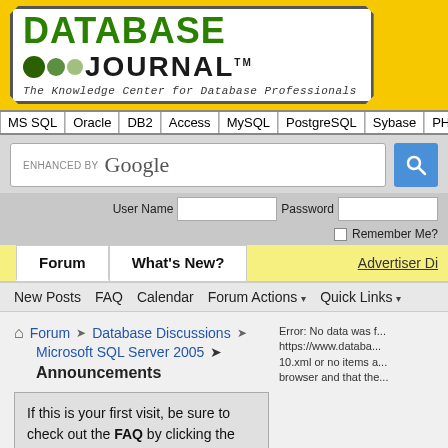[Figure (logo): Database Journal logo on yellow background with octagon-shaped white box, green DATABASE text, colored dots, JOURNAL text, and tagline 'The Knowledge Center for Database Professionals']
MS SQL | Oracle | DB2 | Access | MySQL | PostgreSQL | Sybase | PHP | SQL Etc | SQL Scri
ENHANCED BY Google [search bar with blue search button]
User Name  Password  Remember Me?
Forum  What's New?  Advertiser Di...
New Posts  FAQ  Calendar  Forum Actions  Quick Links
Forum > Database Discussions > Microsoft SQL Server 2005
Announcements
If this is your first visit, be sure to check out the FAQ by clicking the link above. You may have to register before you can post: click the register link above to proceed. To start viewing messages, select the forum that you want to visit from the selection below.
Error: No data was f... https://www.databa... 10.xml or no items a... browser and that the...